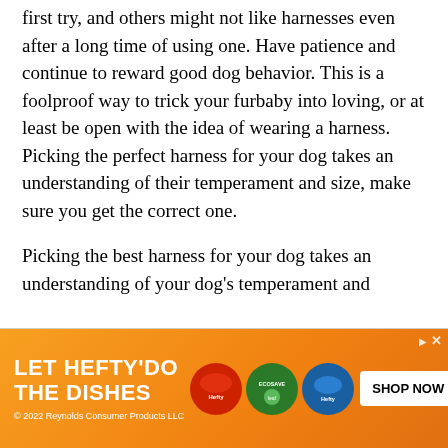first try, and others might not like harnesses even after a long time of using one. Have patience and continue to reward good dog behavior. This is a foolproof way to trick your furbaby into loving, or at least be open with the idea of wearing a harness. Picking the perfect harness for your dog takes an understanding of their temperament and size, make sure you get the correct one.
Picking the best harness for your dog takes an understanding of your dog's temperament and
[Figure (infographic): Hefty advertisement banner with orange gradient background. Left side shows bold white text 'LET HEFTY'DO THE DISHES' with small copyright text '© 2022 Reynolds Consumer Products LLC'. Middle shows three circular product images of Hefty/EcoSave dish products. Right side shows a white 'SHOP NOW' button. Small adchoices triangle icon and X button in top right corner.]